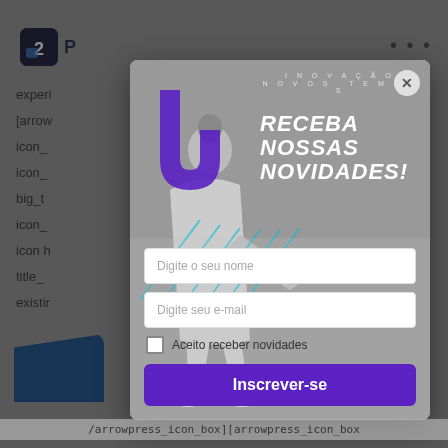[Figure (screenshot): Screenshot of a webpage with a modal popup overlay. The background shows a CMS/WordPress page editor with a logo, navigation dots, and shortcode text. A modal dialog with a newsletter subscription form is overlaid, featuring a person with a laptop image, purple/blue decorative elements, and text 'RECEBA NOSSAS NOVIDADES!' with form fields for name and email, a checkbox, and a subscribe button.]
INOVAÇÃO
N O V O S   T E M P O S
RECEBA NOSSAS NOVIDADES!
Digite o seu nome
Digite seu e-mail
Aceito receber novidades
Inscrever-se
/arrowpress_icon_box][arrowpress_icon_box